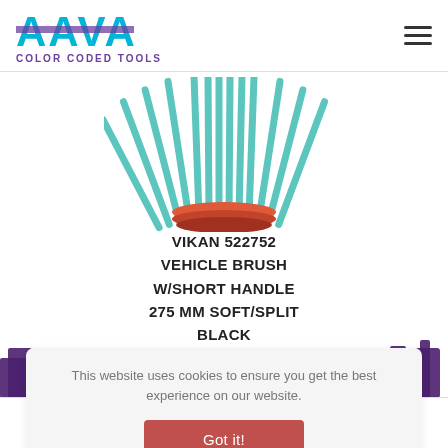AAVA COLOR CODED TOOLS
[Figure (photo): Product image of VIKAN vehicle brush with teal/turquoise bristles and orange/red handle top, shown from above on white background]
VIKAN 522752 VEHICLE BRUSH W/SHORT HANDLE 275 MM SOFT/SPLIT BLACK
This website uses cookies to ensure you get the best experience on our website.
Got it!
Search | Wishlist | Compare | Cart icons